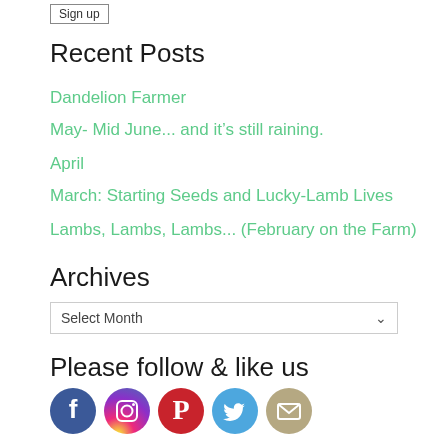Sign up
Recent Posts
Dandelion Farmer
May- Mid June... and it's still raining.
April
March: Starting Seeds and Lucky-Lamb Lives
Lambs, Lambs, Lambs... (February on the Farm)
Archives
Select Month
Please follow & like us
[Figure (infographic): Row of 5 social media icons: Facebook (blue circle), Instagram (purple-orange gradient circle), Pinterest (red circle), Twitter (light blue circle), Email/envelope (tan circle)]